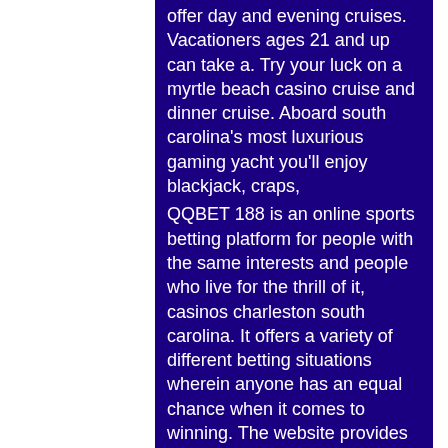offer day and evening cruises. Vacationers ages 21 and up can take a. Try your luck on a myrtle beach casino cruise and dinner cruise. Aboard south carolina's most luxurious gaming yacht you'll enjoy blackjack, craps,
QQBET 188 is an online sports betting platform for people with the same interests and people who live for the thrill of it, casinos charleston south carolina. It offers a variety of different betting situations wherein anyone has an equal chance when it comes to winning. The website provides more than just the venue of betting but also offers different mechanisms of betting such as the sportsbook or the casino. We also provide basic information and tools that can help you decide on what and where to put your money on.
Last week winners: